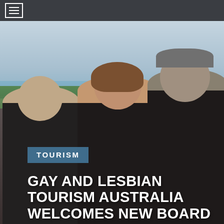Navigation bar with hamburger menu icon
[Figure (photo): Three people wearing black polo shirts standing outdoors with trees and water/ocean in the background. The person on the left is an older man, center is a woman with long brown hair, and right is a man wearing glasses and a cap. The shirts appear to have a logo on them.]
TOURISM
GAY AND LESBIAN TOURISM AUSTRALIA WELCOMES NEW BOARD